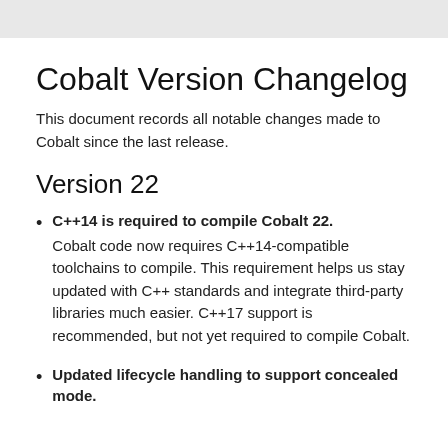Cobalt Version Changelog
This document records all notable changes made to Cobalt since the last release.
Version 22
C++14 is required to compile Cobalt 22.
Cobalt code now requires C++14-compatible toolchains to compile. This requirement helps us stay updated with C++ standards and integrate third-party libraries much easier. C++17 support is recommended, but not yet required to compile Cobalt.
Updated lifecycle handling to support concealed mode.